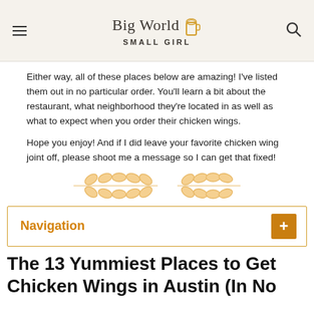Big World Small Girl
Either way, all of these places below are amazing! I've listed them out in no particular order. You'll learn a bit about the restaurant, what neighborhood they're located in as well as what to expect when you order their chicken wings.
Hope you enjoy! And if I did leave your favorite chicken wing joint off, please shoot me a message so I can get that fixed!
[Figure (illustration): Two decorative wheat/leaf branch dividers in golden/orange color]
Navigation
The 13 Yummiest Places to Get Chicken Wings in Austin (In No